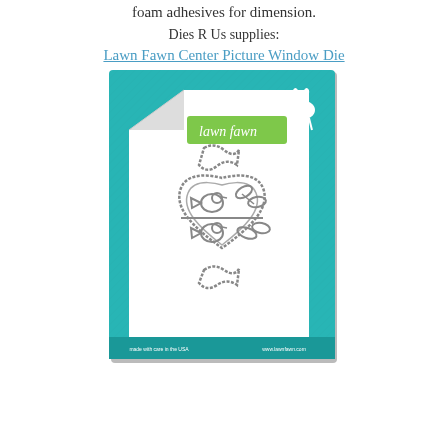foam adhesives for dimension.
Dies R Us supplies:
Lawn Fawn Center Picture Window Die
[Figure (photo): Product packaging image for Lawn Fawn 'lawn cuts custom craft dies' showing the Center Picture Window Card Heart Add-On die set with gray metal dies shaped as a heart window frame with birds and branches on a teal background, featuring the Lawn Fawn deer logo and branding.]